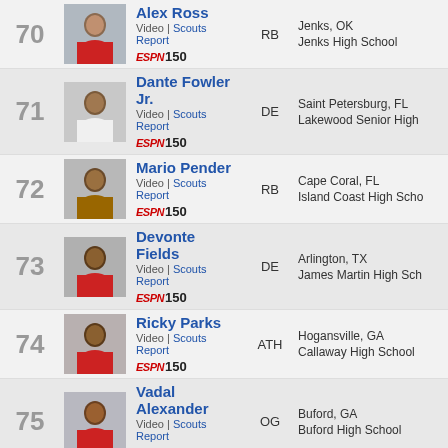| Rank | Photo | Name/Info | Position | Location |
| --- | --- | --- | --- | --- |
| 70 |  | Alex Ross
Video | Scouts Report
ESPN 150 | RB | Jenks, OK
Jenks High School |
| 71 |  | Dante Fowler Jr.
Video | Scouts Report
ESPN 150 | DE | Saint Petersburg, FL
Lakewood Senior High |
| 72 |  | Mario Pender
Video | Scouts Report
ESPN 150 | RB | Cape Coral, FL
Island Coast High Scho |
| 73 |  | Devonte Fields
Video | Scouts Report
ESPN 150 | DE | Arlington, TX
James Martin High Sch |
| 74 |  | Ricky Parks
Video | Scouts Report
ESPN 150 | ATH | Hogansville, GA
Callaway High School |
| 75 |  | Vadal Alexander
Video | Scouts Report
ESPN 150 | OG | Buford, GA
Buford High School |
| 76 |  | Marvin Bracy
Video | Scouts Report
ESPN 150 | WR | Orlando, FL
Boone High School |